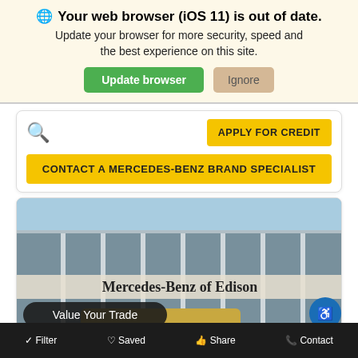🌐 Your web browser (iOS 11) is out of date. Update your browser for more security, speed and the best experience on this site.
Update browser | Ignore
APPLY FOR CREDIT
CONTACT A MERCEDES-BENZ BRAND SPECIALIST
[Figure (photo): Exterior photo of Mercedes-Benz of Edison dealership building with glass facade. Overlay text reads 'Mercedes-Benz of Edison' and a black pill button reads 'Value Your Trade'.]
Filter | Saved | Share | Contact